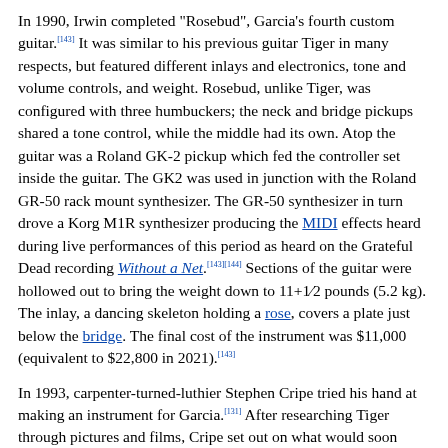In 1990, Irwin completed "Rosebud", Garcia's fourth custom guitar.[143] It was similar to his previous guitar Tiger in many respects, but featured different inlays and electronics, tone and volume controls, and weight. Rosebud, unlike Tiger, was configured with three humbuckers; the neck and bridge pickups shared a tone control, while the middle had its own. Atop the guitar was a Roland GK-2 pickup which fed the controller set inside the guitar. The GK2 was used in junction with the Roland GR-50 rack mount synthesizer. The GR-50 synthesizer in turn drove a Korg M1R synthesizer producing the MIDI effects heard during live performances of this period as heard on the Grateful Dead recording Without a Net.[143][144] Sections of the guitar were hollowed out to bring the weight down to 11+1⁄2 pounds (5.2 kg). The inlay, a dancing skeleton holding a rose, covers a plate just below the bridge. The final cost of the instrument was $11,000 (equivalent to $22,800 in 2021).[143]
In 1993, carpenter-turned-luthier Stephen Cripe tried his hand at making an instrument for Garcia.[131] After researching Tiger through pictures and films, Cripe set out on what would soon become known as "Lightning Bolt", again named for its inlay.[145] The guitar used Brazilian rosewood for the fingerboard and East Indian rosewood for the body, which, with admitted irony from Cripe, had been taken from a 19th-century bed used by opium